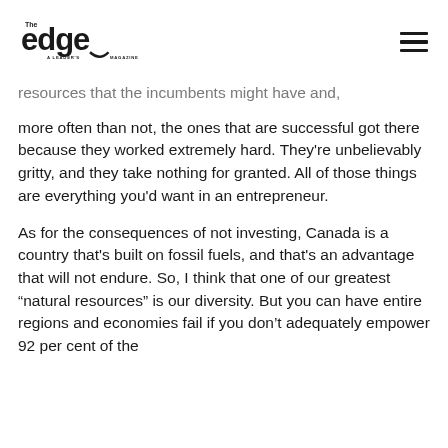The Edge — A Leader's Magazine
resources that the incumbents might have and, more often than not, the ones that are successful got there because they worked extremely hard. They're unbelievably gritty, and they take nothing for granted. All of those things are everything you'd want in an entrepreneur.
As for the consequences of not investing, Canada is a country that's built on fossil fuels, and that's an advantage that will not endure. So, I think that one of our greatest “natural resources” is our diversity. But you can have entire regions and economies fail if you don't adequately empower 92 per cent of the